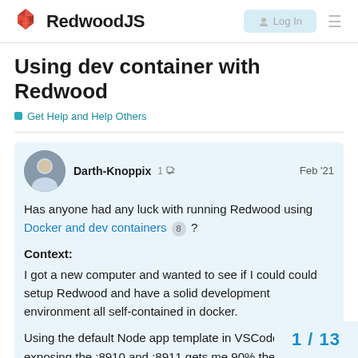RedwoodJS
Using dev container with Redwood
Get Help and Help Others
Darth-Knoppix  1  Feb '21
Has anyone had any luck with running Redwood using Docker and dev containers 8 ?
Context:
I got a new computer and wanted to see if I could could setup Redwood and have a solid development environment all self-contained in docker.
Using the default Node app template in VSCode and exposing the :8910 and :8911 gets me 90% there.
Current Blocker:
1 / 13